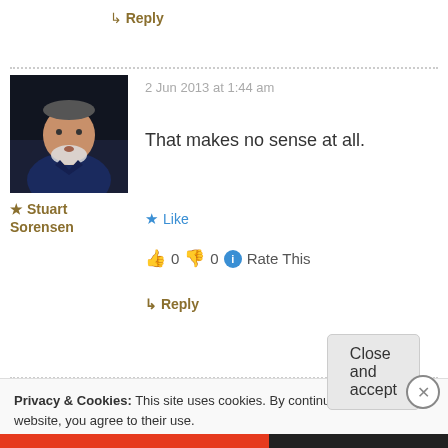↳ Reply
[Figure (photo): Avatar photo of Stuart Sorensen, a middle-aged man with white beard wearing a dark blue shirt]
★ Stuart Sorensen
2 Jun 2013 at 1:44 am
That makes no sense at all.
★ Like
👍 0 👎 0 ℹ Rate This
↳ Reply
Privacy & Cookies: This site uses cookies. By continuing to use this website, you agree to their use.
To find out more, including how to control cookies, see here: Cookie Policy
Close and accept